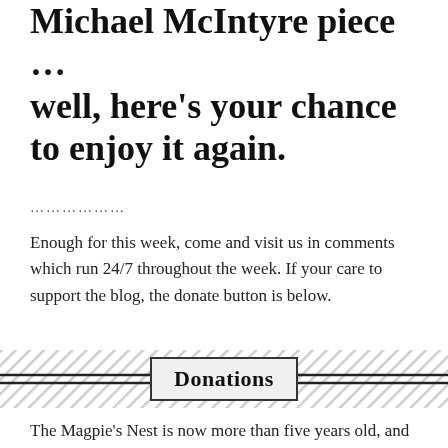Michael McIntyre piece … well, here's your chance to enjoy it again.
……………….
Enough for this week, come and visit us in comments which run 24/7 throughout the week. If your care to support the blog, the donate button is below.
Donations
The Magpie's Nest is now more than five years old, and remains an independent alternative voice for Townsville. The weekly warble is a labour of love and takes a lot of time to put together. So if you like your weekly load of old cobblers,